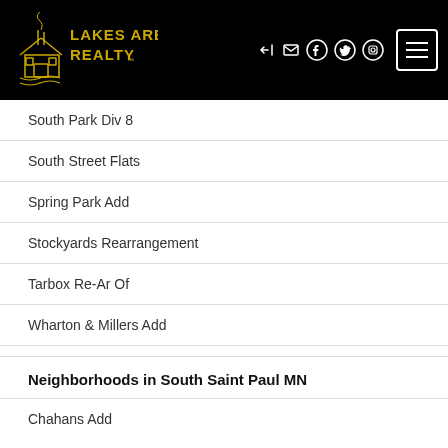Lakes Area Realty
South Park Div 8
South Street Flats
Spring Park Add
Stockyards Rearrangement
Tarbox Re-Ar Of
Wharton & Millers Add
Neighborhoods in South Saint Paul MN
Chahans Add